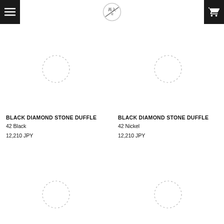[Figure (screenshot): E-commerce product listing page showing Black Diamond Stone Duffle bags in various colors with prices in JPY]
BLACK DIAMOND STONE DUFFLE
42 Black
12,210 JPY
BLACK DIAMOND STONE DUFFLE
42 Nickel
12,210 JPY